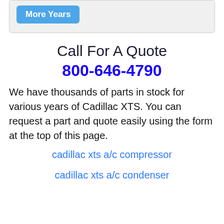[Figure (screenshot): A light grey rounded box with a blue button labeled 'More Years' partially visible at the top of the page]
Call For A Quote
800-646-4790
We have thousands of parts in stock for various years of Cadillac XTS. You can request a part and quote easily using the form at the top of this page.
cadillac xts a/c compressor
cadillac xts a/c condenser